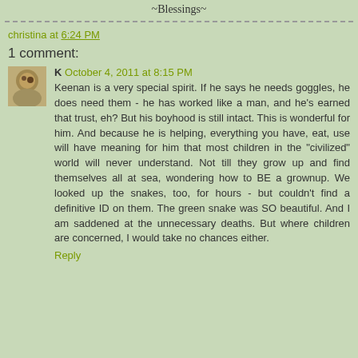~Blessings~
christina at 6:24 PM
1 comment:
K October 4, 2011 at 8:15 PM
Keenan is a very special spirit. If he says he needs goggles, he does need them - he has worked like a man, and he's earned that trust, eh? But his boyhood is still intact. This is wonderful for him. And because he is helping, everything you have, eat, use will have meaning for him that most children in the "civilized" world will never understand. Not till they grow up and find themselves all at sea, wondering how to BE a grownup. We looked up the snakes, too, for hours - but couldn't find a definitive ID on them. The green snake was SO beautiful. And I am saddened at the unnecessary deaths. But where children are concerned, I would take no chances either.
Reply